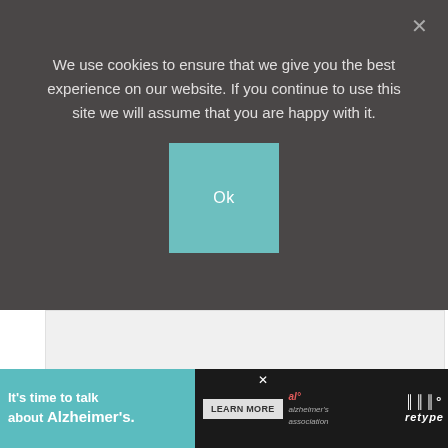We use cookies to ensure that we give you the best experience on our website. If you continue to use this site we will assume that you are happy with it.
Ok
[Figure (other): Advertisement banner area (blank/white rectangle with watermark logo)]
So, TODAY I bring you your 12 favorite desserts of 2014!
Grab a napkin... drool worthy desserts ahead!
[Figure (other): Bottom advertisement banner: It's time to talk about Alzheimer's. with Learn More button and Alzheimer's Association logo on dark background]